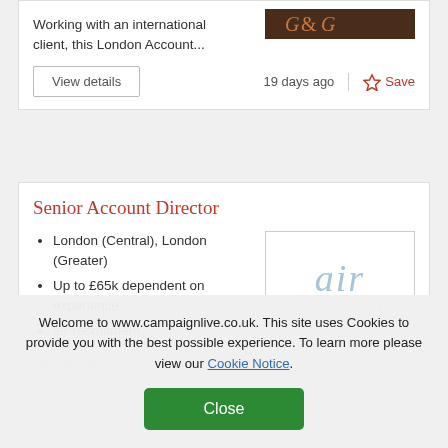Working with an international client, this London Account...
19 days ago
Save
Senior Account Director
London (Central), London (Greater)
Up to £65k dependent on experience
air-recruitment
[Figure (logo): air recruitment logo — stylized italic 'air' text above 'recruitment' in light blue-grey]
Welcome to www.campaignlive.co.uk. This site uses Cookies to provide you with the best possible experience. To learn more please view our Cookie Notice.
Close